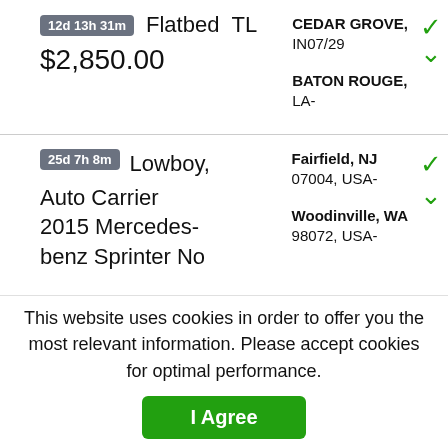12d 13h 31m  Flatbed  TL  CEDAR GROVE, IN07/29  BATON ROUGE, LA-  $2,850.00
25d 7h 8m  Lowboy, Auto Carrier  2015 Mercedes-benz Sprinter No  Fairfield, NJ 07004, USA-  Woodinville, WA 98072, USA-
This website uses cookies in order to offer you the most relevant information. Please accept cookies for optimal performance. I Agree